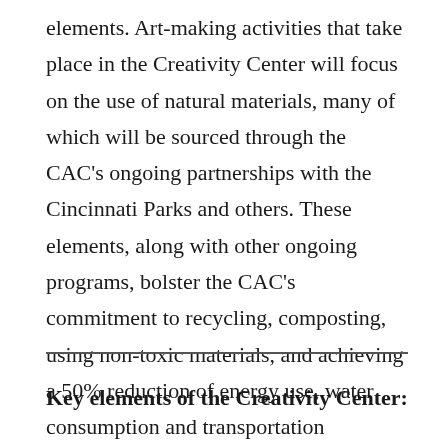elements. Art-making activities that take place in the Creativity Center will focus on the use of natural materials, many of which will be sourced through the CAC's ongoing partnerships with the Cincinnati Parks and others. These elements, along with other ongoing programs, bolster the CAC's commitment to recycling, composting, using non-toxic materials, and achieving a 50% reduction of energy use, water consumption and transportation emissions by the year 2030. The project will also support the CAC's pursuit of LEED certification for Operations and Maintenance (O+M) for its entire building.
Key elements of the Creativity Center: